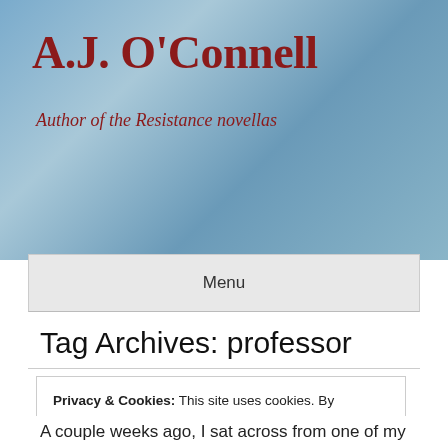A.J. O'Connell
Author of the Resistance novellas
Menu
Tag Archives: professor
Privacy & Cookies: This site uses cookies. By continuing to use this website, you agree to their use.
To find out more, including how to control cookies, see here: Cookie Policy
A couple weeks ago, I sat across from one of my